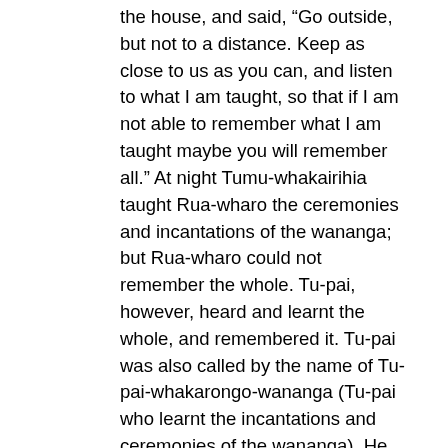the house, and said, “Go outside, but not to a distance. Keep as close to us as you can, and listen to what I am taught, so that if I am not able to remember what I am taught maybe you will remember all.” At night Tumu-whakairihia taught Rua-wharo the ceremonies and incantations of the wananga; but Rua-wharo could not remember the whole. Tu-pai, however, heard and learnt the whole, and remembered it. Tu-pai was also called by the name of Tu-pai-whakarongo-wananga (Tu-pai who learnt the incantations and ceremonies of the wananga). He learnt the incantations called Te-mahia-mai-tawhiti (the sound from a distance), Pura-kau-mai-tawhiti (ancient lore from a distance), Koma-koro-mai-tawhiti (pale noose from a distance), Pou-tama-mai-tawhiti (battle-